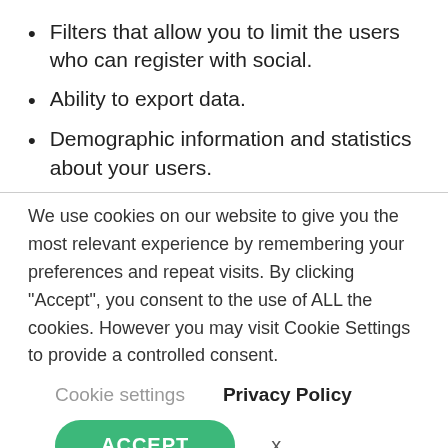Filters that allow you to limit the users who can register with social.
Ability to export data.
Demographic information and statistics about your users.
We use cookies on our website to give you the most relevant experience by remembering your preferences and repeat visits. By clicking “Accept”, you consent to the use of ALL the cookies. However you may visit Cookie Settings to provide a controlled consent.
Cookie settings    Privacy Policy
ACCEPT   x